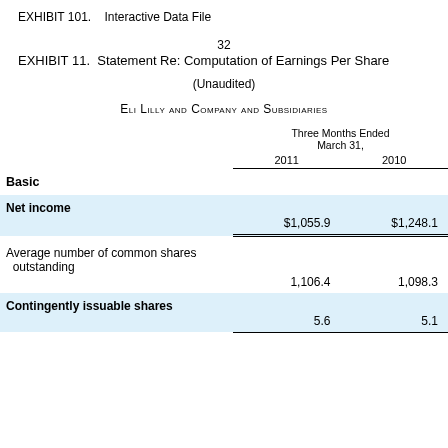EXHIBIT 101.    Interactive Data File
32
EXHIBIT 11.  Statement Re: Computation of Earnings Per Share
(Unaudited)
ELI LILLY AND COMPANY AND SUBSIDIARIES
|  | Three Months Ended March 31, 2011 | Three Months Ended March 31, 2010 |
| --- | --- | --- |
| Basic |  |  |
| Net income | $1,055.9 | $1,248.1 |
| Average number of common shares outstanding | 1,106.4 | 1,098.3 |
| Contingently issuable shares | 5.6 | 5.1 |